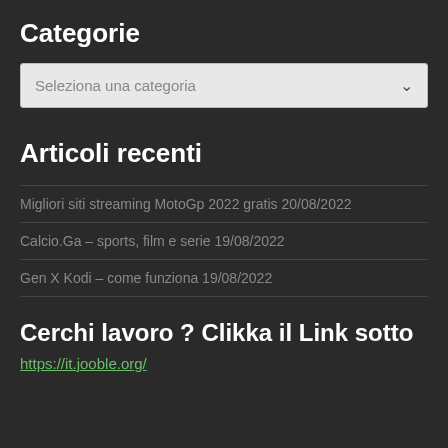Categorie
[Figure (screenshot): Dropdown selector with label 'Seleziona una categoria' and a chevron arrow on the right, on a light grey background]
Articoli recenti
Migliori siti streaming MotoGp 2022 gratis 20/08/2022
Calcio.Ga – sports, film e serie 19/08/2022
Gen X Kodi – come funziona 19/08/2022
Cerchi lavoro ? Clikka il Link sotto
https://it.jooble.org/